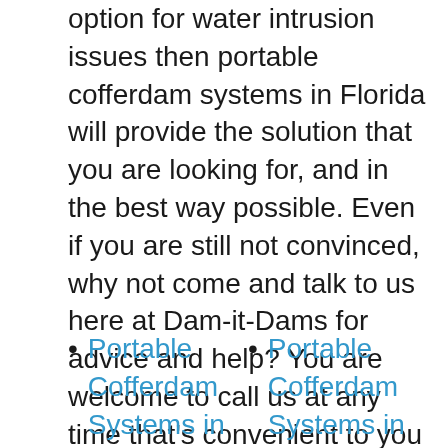option for water intrusion issues then portable cofferdam systems in Florida will provide the solution that you are looking for, and in the best way possible. Even if you are still not convinced, why not come and talk to us here at Dam-it-Dams for advice and help? You are welcome to call us at any time that's convenient to you at 1-810-695-1695, or contact us online through our contact form.
Portable Cofferdam Systems in Texas
Portable Cofferdam Systems in Michigan
Portable Cofferdam Systems in Louisiana